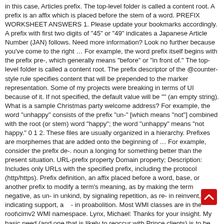in this case, Articles prefix. The top-level folder is called a content root. A prefix is an affix which is placed before the stem of a word. PREFIX WORKSHEET ANSWERS 1. Please update your bookmarks accordingly. A prefix with first two digits of "45" or "49" indicates a Japanese Article Number (JAN) follows. Need more information? Look no further because you've come to the right … For example, the word prefix itself begins with the prefix pre-, which generally means "before" or "in front of." The top-level folder is called a content root. The prefix descriptor of the @counter-style rule specifies content that will be prepended to the marker representation. Some of my projects were breaking in terms of UI because of it. If not specified, the default value will be "" (an empty string). What is a sample Christmas party welcome address? For example, the word "unhappy" consists of the prefix "un-" [which means "not"] combined with the root (or stem) word "happy"; the word "unhappy" means "not happy." 0 1 2. These files are usually organized in a hierarchy. Prefixes are morphemes that are added onto the beginning of … For example, consider the prefix de-. noun a longing for something better than the present situation. URL-prefix property Domain property; Description: Includes only URLs with the specified prefix, including the protocol (http/https). Prefix definition, an affix placed before a word, base, or another prefix to modify a term's meaning, as by making the term negative, as un- in unkind, by signaling repetition, as re- in reinvent, or by indicating support, a - in proabolition. Most WMI classes are in the root\cimv2 WMI namespace. Lynx, Michael: Thanks for your insight. My basic need (and one that is likely to reoccur with Prince clients) is to be able to have low